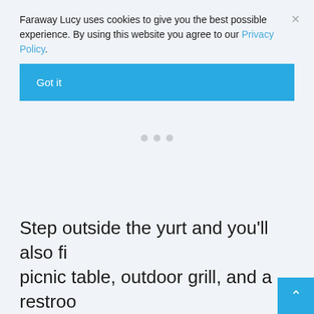Faraway Lucy uses cookies to give you the best possible experience. By using this website you agree to our Privacy Policy.
Got it
[Figure (other): Three grey dots indicating loading or pagination]
Step outside the yurt and you'll also fi... picnic table, outdoor grill, and a restroo...